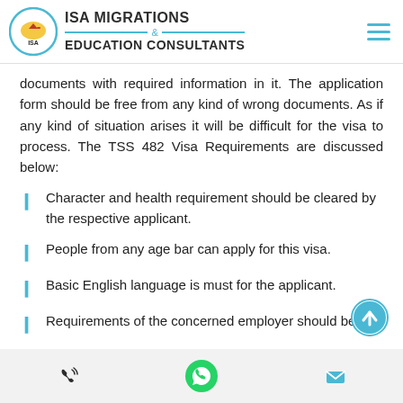[Figure (logo): ISA Migrations & Education Consultants logo with circular emblem and hamburger menu icon]
documents with required information in it. The application form should be free from any kind of wrong documents. As if any kind of situation arises it will be difficult for the visa to process. The TSS 482 Visa Requirements are discussed below:
Character and health requirement should be cleared by the respective applicant.
People from any age bar can apply for this visa.
Basic English language is must for the applicant.
Requirements of the concerned employer should be
[Figure (illustration): Scroll-to-top circular button with upward arrow in blue]
Phone icon | WhatsApp icon | Email icon